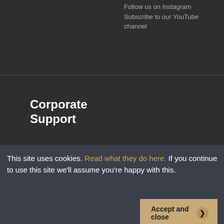Follow us on Instagram
Subscribe to our YouTube channel
Corporate Support
[Figure (logo): Arts Council England logo — circular badge with 'ARTS COUNCIL ENGLAND' text, and text reading 'Supported using public funding by ARTS COUNCIL ENGLAND']
This site uses cookies. Read what they do here. If you continue to use this site we'll assume you're happy with this.
Accept and close